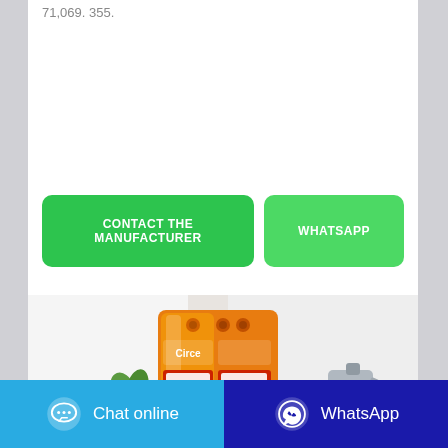71,069. 355.
CONTACT THE MANUFACTURER
WHATSAPP
[Figure (photo): Product photo showing orange plastic bags of laundry detergent powder (Circe brand) displayed against a white background with a small plant and jug.]
Chat online
WhatsApp